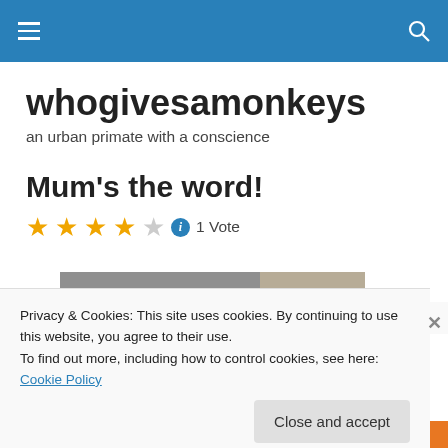whogivesamonkeys navigation bar
whogivesamonkeys
an urban primate with a conscience
Mum's the word!
1 Vote
[Figure (photo): Top portion of a photo visible behind cookie banner]
Privacy & Cookies: This site uses cookies. By continuing to use this website, you agree to their use.
To find out more, including how to control cookies, see here: Cookie Policy
Close and accept
DuckDuckGo